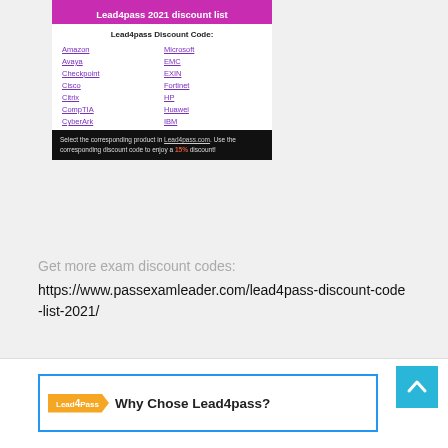[Figure (infographic): Lead4pass 2021 discount list card showing discount code links for various vendors including Amazon, Microsoft, Avaya, EMC, Checkpoint, EXIN, Cisco, Fortinet, Citrix, HP, CompTIA, Huawei, CyberArk, IBM, with a black footer instructing to select product on Lead4pass.com and use discount code for 15% discount]
Get more exam discount codes:
https://www.passexamleader.com/lead4pass-discount-code-list-2021/
[Figure (infographic): Lead4Pass logo and 'Why Chose Lead4pass?' banner with blue border, orange chevron badge and bold question text]